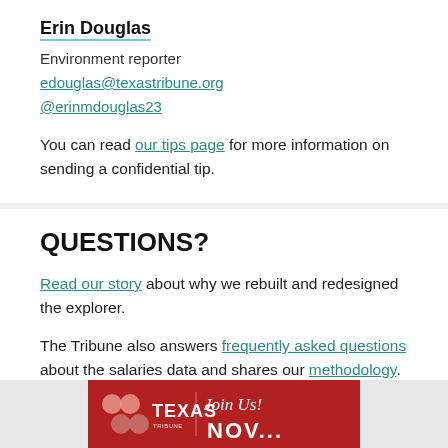Erin Douglas
Environment reporter
edouglas@texastribune.org
@erinmdouglas23
You can read our tips page for more information on sending a confidential tip.
QUESTIONS?
Read our story about why we rebuilt and redesigned the explorer.
The Tribune also answers frequently asked questions about the salaries data and shares our methodology.
[Figure (illustration): Texas Tribune 'Join Us! Nov...' promotional banner in red with circular logo icons]